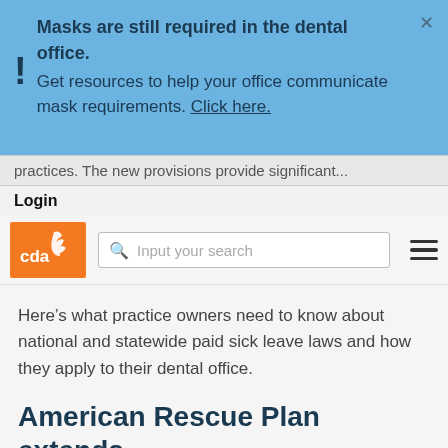Masks are still required in the dental office. Get resources to help your office communicate mask requirements. Click here.
practices. The new provisions provide significant...
Login
[Figure (logo): CDA (California Dental Association) orange logo with stylized leaf/wing motif]
Input your search
Here’s what practice owners need to know about national and statewide paid sick leave laws and how they apply to their dental office.
American Rescue Plan extends